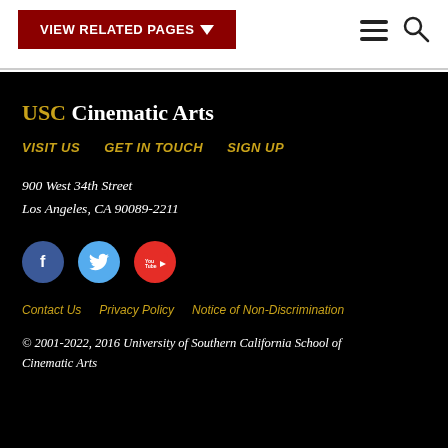VIEW RELATED PAGES
USC Cinematic Arts
VISIT US   GET IN TOUCH   SIGN UP
900 West 34th Street
Los Angeles, CA 90089-2211
[Figure (other): Social media icons: Facebook, Twitter, YouTube]
Contact Us   Privacy Policy   Notice of Non-Discrimination
© 2001-2022, 2016 University of Southern California School of Cinematic Arts